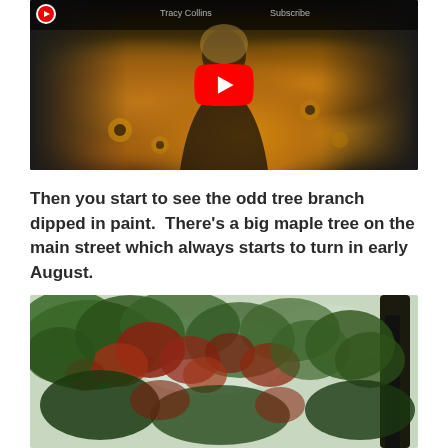[Figure (screenshot): YouTube video thumbnail showing a woman standing in a field of yellow sunflowers with a large red YouTube play button in the center]
Then you start to see the odd tree branch dipped in paint.  There's a big maple tree on the main street which always starts to turn in early August.
[Figure (photo): Photo looking up through a maple tree canopy showing green and red/orange autumn leaves against a pale sky]